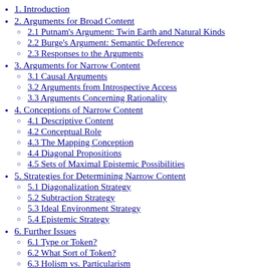1. Introduction
2. Arguments for Broad Content
2.1 Putnam's Argument: Twin Earth and Natural Kinds
2.2 Burge's Argument: Semantic Deference
2.3 Responses to the Arguments
3. Arguments for Narrow Content
3.1 Causal Arguments
3.2 Arguments from Introspective Access
3.3 Arguments Concerning Rationality
4. Conceptions of Narrow Content
4.1 Descriptive Content
4.2 Conceptual Role
4.3 The Mapping Conception
4.4 Diagonal Propositions
4.5 Sets of Maximal Epistemic Possibilities
5. Strategies for Determining Narrow Content
5.1 Diagonalization Strategy
5.2 Subtraction Strategy
5.3 Ideal Environment Strategy
5.4 Epistemic Strategy
6. Further Issues
6.1 Type or Token?
6.2 What Sort of Token?
6.3 Holism vs. Particularism
6.4 The Subject